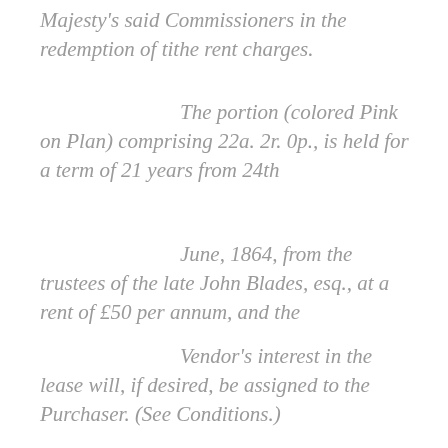Majesty's said Commissioners in the redemption of tithe rent charges.
The portion (colored Pink on Plan) comprising 22a. 2r. 0p., is held for a term of 21 years from 24th
June, 1864, from the trustees of the late John Blades, esq., at a rent of £50 per annum, and the
Vendor's interest in the lease will, if desired, be assigned to the Purchaser. (See Conditions.)